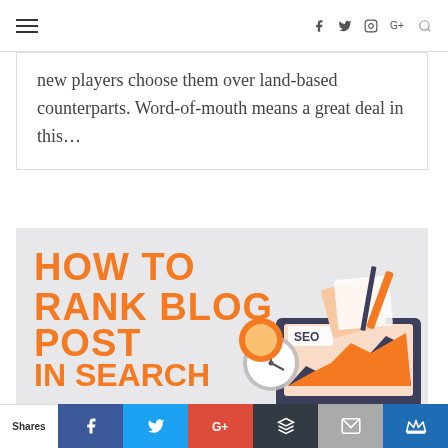Navigation bar with hamburger menu and social icons (Facebook, Twitter, Instagram, Google+, Search)
new players choose them over land-based counterparts. Word-of-mouth means a great deal in this...
[Figure (infographic): Infographic titled 'HOW TO RANK BLOG POST IN SEARCH ENGINES?' with orange bold text on light grey background, showing a laptop with SEO chart and office supplies illustration]
Shares | Facebook | Twitter | Google+ | Buffer | Email | King (share buttons)